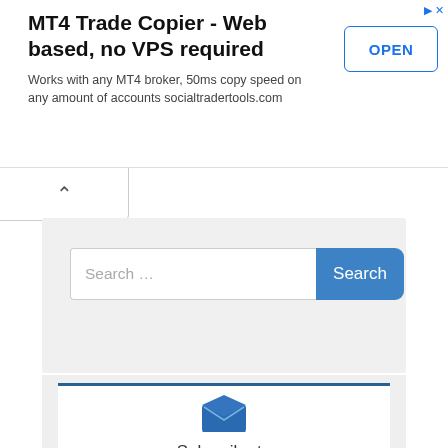MT4 Trade Copier - Web based, no VPS required
Works with any MT4 broker, 50ms copy speed on any amount of accounts socialtradertools.com
[Figure (screenshot): OPEN button for advertisement]
[Figure (screenshot): Collapse/chevron up button]
[Figure (screenshot): Search bar with Search button on grey background]
[Figure (illustration): Open envelope icon in blue]
Subscribe to
Trades Of The